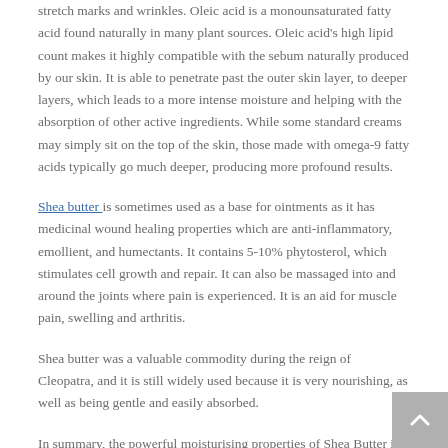stretch marks and wrinkles. Oleic acid is a monounsaturated fatty acid found naturally in many plant sources. Oleic acid's high lipid count makes it highly compatible with the sebum naturally produced by our skin. It is able to penetrate past the outer skin layer, to deeper layers, which leads to a more intense moisture and helping with the absorption of other active ingredients. While some standard creams may simply sit on the top of the skin, those made with omega-9 fatty acids typically go much deeper, producing more profound results.
Shea butter is sometimes used as a base for ointments as it has medicinal wound healing properties which are anti-inflammatory, emollient, and humectants. It contains 5-10% phytosterol, which stimulates cell growth and repair. It can also be massaged into and around the joints where pain is experienced. It is an aid for muscle pain, swelling and arthritis.
Shea butter was a valuable commodity during the reign of Cleopatra, and it is still widely used because it is very nourishing, as well as being gentle and easily absorbed.
In summary, the powerful moisturising properties of Shea Butter is a gentle and effective and may be used to treat a number of